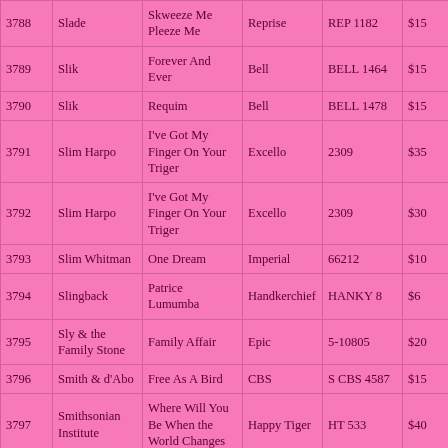| # | Artist | Title | Label | Cat# | Price |
| --- | --- | --- | --- | --- | --- |
| 3788 | Slade | Skweeze Me Pleeze Me | Reprise | REP 1182 | $15 |
| 3789 | Slik | Forever And Ever | Bell | BELL 1464 | $15 |
| 3790 | Slik | Requim | Bell | BELL 1478 | $15 |
| 3791 | Slim Harpo | I've Got My Finger On Your Triger | Excello | 2309 | $35 |
| 3792 | Slim Harpo | I've Got My Finger On Your Triger | Excello | 2309 | $30 |
| 3793 | Slim Whitman | One Dream | Imperial | 66212 | $10 |
| 3794 | Slingback | Patrice Lumumba | Handkerchief | HANKY 8 | $6 |
| 3795 | Sly & the Family Stone | Family Affair | Epic | 5-10805 | $20 |
| 3796 | Smith & d'Abo | Free As A Bird | CBS | S CBS 4587 | $15 |
| 3797 | Smithsonian Institute | Where Will You Be When the World Changes | Happy Tiger | HT 533 | $40 |